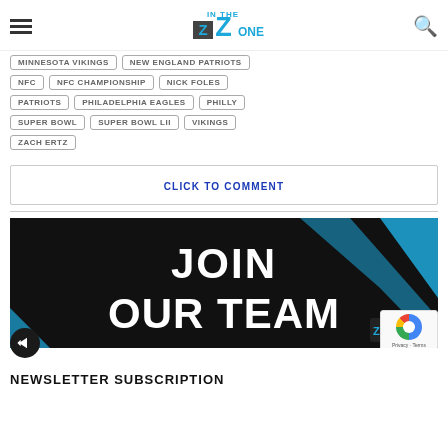IN THE ZONE
MINNESOTA VIKINGS
NEW ENGLAND PATRIOTS
NFC
NFC CHAMPIONSHIP
NICK FOLES
PATRIOTS
PHILADELPHIA EAGLES
PHILLY
SUPER BOWL
SUPER BOWL LII
VIKINGS
ZACH ERTZ
CLICK TO COMMENT
[Figure (infographic): JOIN OUR TEAM banner with black background and teal diagonal stripes, showing In The Zone logo]
NEWSLETTER SUBSCRIPTION